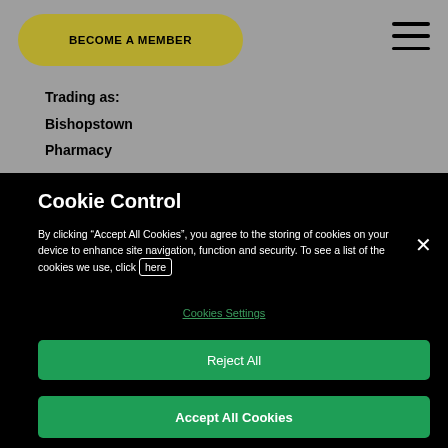BECOME A MEMBER
Trading as:
Bishopstown
Pharmacy
Cookie Control
By clicking “Accept All Cookies”, you agree to the storing of cookies on your device to enhance site navigation, function and security. To see a list of the cookies we use, click here
Cookies Settings
Reject All
Accept All Cookies